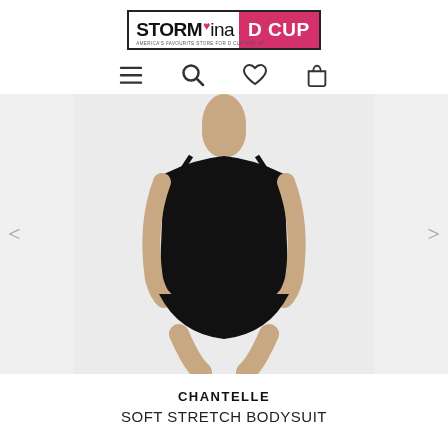[Figure (logo): Storm in a D Cup logo - black text 'STORM' with heart dot on i, 'ina' regular weight, then pink/magenta box with white 'D CUP' text, border around whole logo, subtitle 'AMERICA'S FAVOURITE STORE FOR D CUP AND UP']
[Figure (screenshot): Navigation icons row: hamburger menu, search magnifying glass, heart/wishlist, shopping bag]
[Figure (photo): Product photo of a woman wearing a black Chantelle soft stretch bodysuit with thin spaghetti straps and scoop neckline, on light gray background with left and right carousel arrows]
CHANTELLE
SOFT STRETCH BODYSUIT